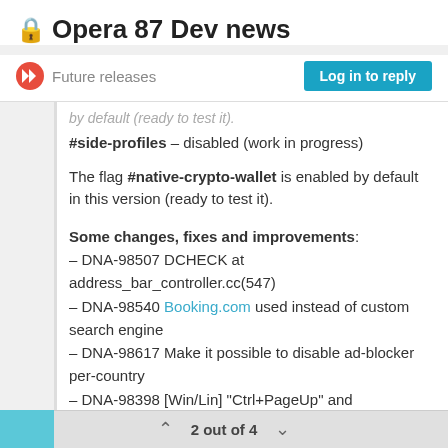🔒 Opera 87 Dev news
Future releases
Log in to reply
by default (ready to test it).
#side-profiles – disabled (work in progress)
The flag #native-crypto-wallet is enabled by default in this version (ready to test it).
Some changes, fixes and improvements:
– DNA-98507 DCHECK at address_bar_controller.cc(547)
– DNA-98540 Booking.com used instead of custom search engine
– DNA-98617 Make it possible to disable ad-blocker per-country
– DNA-98398 [Win/Lin] "Ctrl+PageUp" and "Ctrl+PageDown" shortcuts don't work, when the
2 out of 4